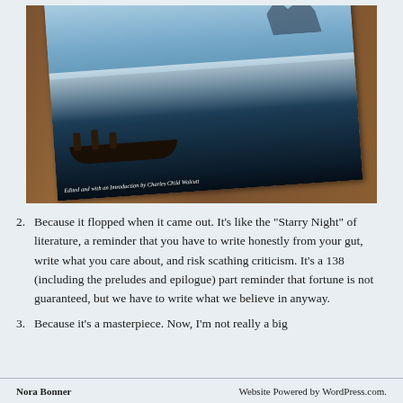[Figure (photo): A photograph of a book lying on a wooden surface. The book cover shows a nautical scene with ships and a rowboat in rough seas. Text on the cover reads 'Edited and with an Introduction by Charles Child Walcutt'.]
Because it flopped when it came out. It’s like the “Starry Night” of literature, a reminder that you have to write honestly from your gut, write what you care about, and risk scathing criticism. It’s a 138 (including the preludes and epilogue) part reminder that fortune is not guaranteed, but we have to write what we believe in anyway.
Because it’s a masterpiece. Now, I’m not really a big
Nora Bonner    Website Powered by WordPress.com.